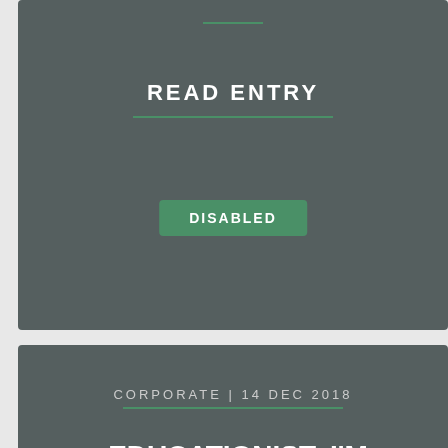READ ENTRY
DISABLED
CORPORATE | 14 DEC 2018
EDUCATIONIST: I'M HOPELESS AND DESPERATE IN THE JOURNEY BUT..
Interested? Enquire about our courses!
ENQUIRE NOW
Join us to #FutureProofYOUth to build a stronger Hong Kong.
DONATE NOW
READ ENTRY